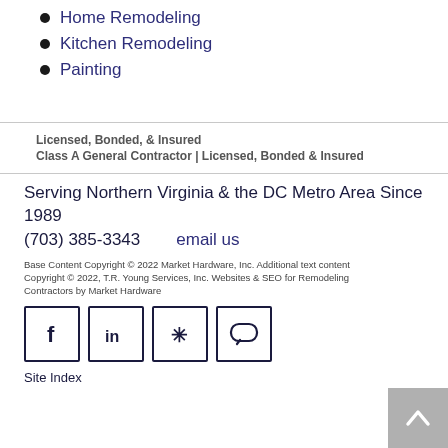Home Remodeling
Kitchen Remodeling
Painting
Licensed, Bonded, & Insured
Class A General Contractor | Licensed, Bonded & Insured
Serving Northern Virginia & the DC Metro Area Since 1989
(703) 385-3343    email us
Base Content Copyright © 2022 Market Hardware, Inc. Additional text content Copyright © 2022, T.R. Young Services, Inc. Websites & SEO for Remodeling Contractors by Market Hardware
[Figure (infographic): Social media icon buttons: Facebook (f), LinkedIn (in), Yelp (*), and a chat/message icon, each in a square border]
Site Index